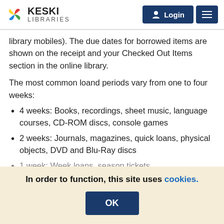KESKI LIBRARIES — Login / Menu header
library mobiles). The due dates for borrowed items are shown on the receipt and your Checked Out Items section in the online library.
The most common loand periods vary from one to four weeks:
4 weeks: Books, recordings, sheet music, language courses, CD-ROM discs, console games
2 weeks: Journals, magazines, quick loans, physical objects, DVD and Blu-Ray discs
1 week: Week loans, season tickets
In order to function, this site uses cookies.
OK